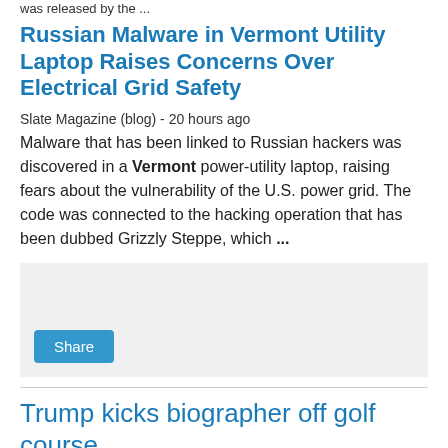was released by the ...
Russian Malware in Vermont Utility Laptop Raises Concerns Over Electrical Grid Safety
Slate Magazine (blog) - 20 hours ago
Malware that has been linked to Russian hackers was discovered in a Vermont power-utility laptop, raising fears about the vulnerability of the U.S. power grid. The code was connected to the hacking operation that has been dubbed Grizzly Steppe, which ...
[Figure (other): Gray box with Share button]
Trump kicks biographer off golf course
Sniveling Petty Vindictive Trump Never Forgets ~ Will Mitch McConnell and Paul Ryan protect our rights or let Trump go full Russian on our asses? See you in political prison.